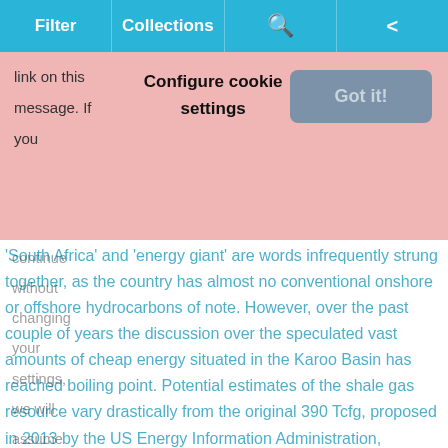Filter | Collections | [search] | [share]
Configure cookie settings | Got it! | link on this message. If you continue without changing your settings, we will assume that you are happy to receive all cookies on the GEO ExPro website.
'South Africa' and 'energy giant' are words infrequently strung together, as the country has almost no conventional onshore or offshore hydrocarbons of note. However, over the past couple of years the discussion over the speculated vast amounts of cheap energy situated in the Karoo Basin has reached boiling point. Potential estimates of the shale gas resource vary drastically from the original 390 Tcfg, proposed in 2013 by the US Energy Information Administration, reaching as high as 480 Tcfg by the Department of Natural Resources (South Africa), and back down to far more conservative estimates. What is certain is that the Permo-Carboniferous Whitehill, Prince Albert and